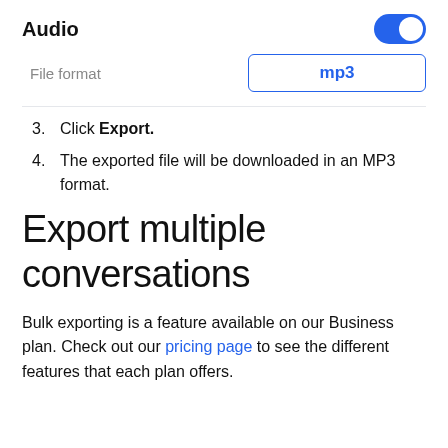[Figure (screenshot): Audio settings row with a blue toggle switch turned on, and a file format field showing 'mp3' in a blue-bordered input box]
3. Click Export.
4. The exported file will be downloaded in an MP3 format.
Export multiple conversations
Bulk exporting is a feature available on our Business plan. Check out our pricing page to see the different features that each plan offers.